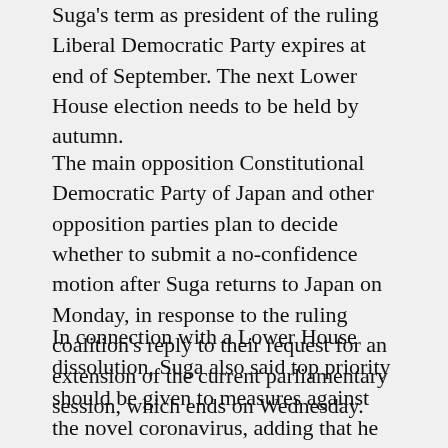Suga's term as president of the ruling Liberal Democratic Party expires at end of September. The next Lower House election needs to be held by autumn.
The main opposition Constitutional Democratic Party of Japan and other opposition parties plan to decide whether to submit a no-confidence motion after Suga returns to Japan on Monday, in response to the ruling coalition's reply to their request for an extension of the current parliamentary session, which ends on Wednesday.
In connection with a Lower House dissolution, Suga also said top priority should be given to measures against the novel coronavirus, adding that he will devote his full effort to the promotion of COVID-19 vaccinations.